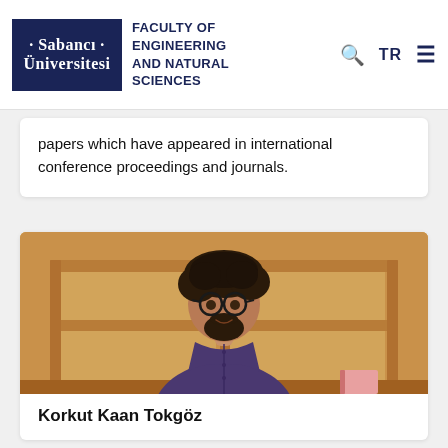Sabancı Universitesi | FACULTY OF ENGINEERING AND NATURAL SCIENCES | TR
papers which have appeared in international conference proceedings and journals.
[Figure (photo): Portrait photo of Korkut Kaan Tokgöz, a man with curly dark hair, round glasses and a beard, wearing a dark purple shirt, standing in front of wooden shelving unit.]
Korkut Kaan Tokgöz